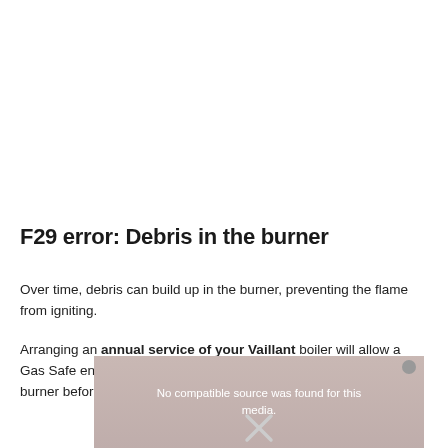F29 error: Debris in the burner
Over time, debris can build up in the burner, preventing the flame from igniting.
Arranging an annual service of your Vaillant boiler will allow a Gas Safe engineer to keep on top of any debris building up in the burner before it prevents the boiler from working altogether.
[Figure (screenshot): Video player overlay showing 'No compatible source was found for this media.' with a close button and X icon, overlaid on a partial view of boiler equipment.]